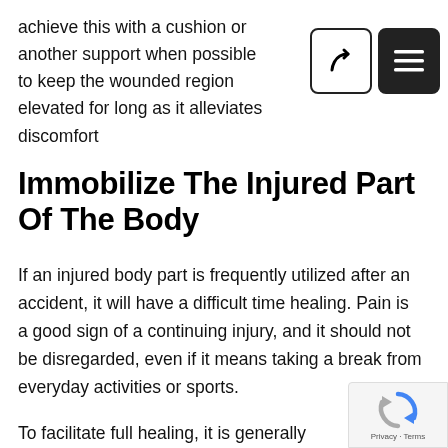achieve this with a cushion or another support when possible to keep the wounded region elevated for long as it alleviates discomfort
Immobilize The Injured Part Of The Body
If an injured body part is frequently utilized after an accident, it will have a difficult time healing. Pain is a good sign of a continuing injury, and it should not be disregarded, even if it means taking a break from everyday activities or sports.
To facilitate full healing, it is generally essential to immobilize the damaged region using a splint or brace and rest it entirely. Continuing to utilize the damaged body part may exacerbate an acute injury, making more likely to reoccur and more difficult to cure.